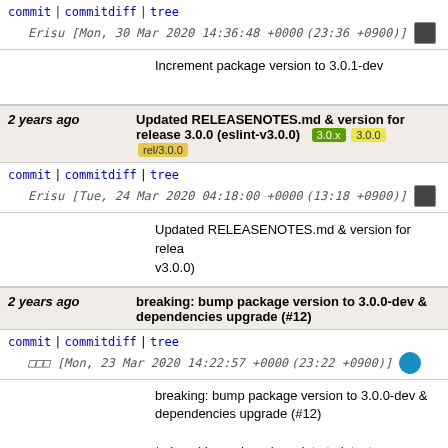commit | commitdiff | tree   Erisu [Mon, 30 Mar 2020 14:36:48 +0000 (23:36 +0900)]
Increment package version to 3.0.1-dev
2 years ago   Updated RELEASENOTES.md & version for release 3.0.0 (eslint-v3.0.0) [3.0.x] [3.0.0] [rel/3.0.0]
commit | commitdiff | tree   Erisu [Tue, 24 Mar 2020 04:18:00 +0000 (13:18 +0900)]
Updated RELEASENOTES.md & version for release (eslint-v3.0.0)
2 years ago   breaking: bump package version to 3.0.0-dev & dependencies upgrade (#12)
commit | commitdiff | tree   ??? [Mon, 23 Mar 2020 14:22:57 +0000 (23:22 +0900)]
breaking: bump package version to 3.0.0-dev & dependencies upgrade (#12)

* chore(dependency): update to latest

- eslint@^6.8.0
- eslint-config-standard@^14.1.1
- eslint-plugin-import@^2.20.1